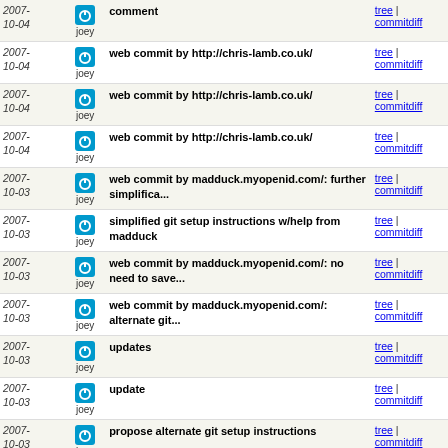| Date | Author | Commit Message | Links |
| --- | --- | --- | --- |
| 2007-10-04 | joey | comment | tree | commitdiff |
| 2007-10-04 | joey | web commit by http://chris-lamb.co.uk/ | tree | commitdiff |
| 2007-10-04 | joey | web commit by http://chris-lamb.co.uk/ | tree | commitdiff |
| 2007-10-04 | joey | web commit by http://chris-lamb.co.uk/ | tree | commitdiff |
| 2007-10-03 | joey | web commit by madduck.myopenid.com/: further simplifica... | tree | commitdiff |
| 2007-10-03 | joey | simplified git setup instructions w/help from madduck | tree | commitdiff |
| 2007-10-03 | joey | web commit by madduck.myopenid.com/: no need to save... | tree | commitdiff |
| 2007-10-03 | joey | web commit by madduck.myopenid.com/: alternate git... | tree | commitdiff |
| 2007-10-03 | joey | updates | tree | commitdiff |
| 2007-10-03 | joey | update | tree | commitdiff |
| 2007-10-03 | joey | propose alternate git setup instructions | tree | commitdiff |
| 2007-10-02 | joey | web commit by JonasSmedegaard: Mention location of... | tree | commitdiff |
| 2007-... | joey | ... | tree | commitdiff |